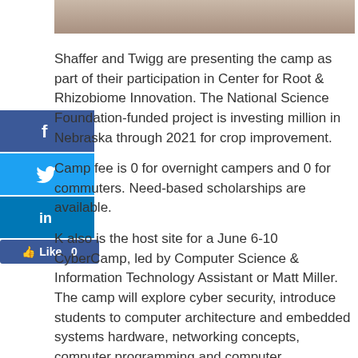[Figure (photo): Partial photo of a person, cropped at top of page]
Shaffer and Twigg are presenting the camp as part of their participation in Center for Root & Rhizobiome Innovation. The National Science Foundation-funded project is investing million in Nebraska through 2021 for crop improvement.
Camp fee is 0 for overnight campers and 0 for commuters. Need-based scholarships are available.
K also is the host site for a June 6-10 CyberCamp, led by Computer Science & Information Technology Assistant or Matt Miller. The camp will explore cyber security, introduce students to computer architecture and embedded systems hardware, networking concepts, computer programming and computer engineering. Each camper will receive a Raspberry Pi device to work with during camp and keep when camp ends.
Camp fee is 0 for overnight campers and 0 for commuters, with need-based scholarships available.